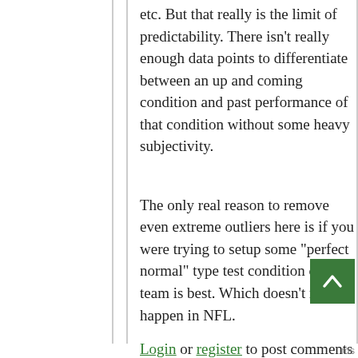etc. But that really is the limit of predictability. There isn't really enough data points to differentiate between an up and coming condition and past performance of that condition without some heavy subjectivity.
The only real reason to remove even extreme outliers here is if you were trying to setup some "perfect normal" type test condition of what team is best. Which doesn't much happen in NFL.
Login or register to post comments